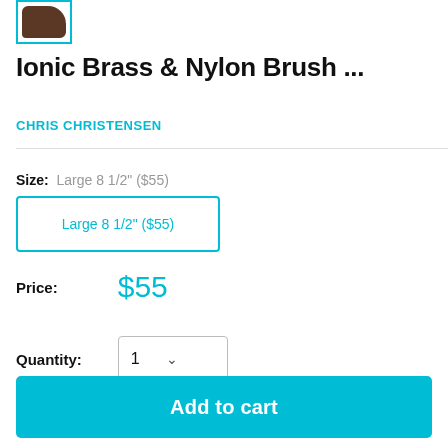[Figure (photo): Small thumbnail image of a dark brown shoe/brush product in a cyan-bordered box]
Ionic Brass & Nylon Brush ...
CHRIS CHRISTENSEN
Size:  Large 8 1/2" ($55)
Large 8 1/2" ($55)
Price:  $55
Quantity:  1
Add to cart